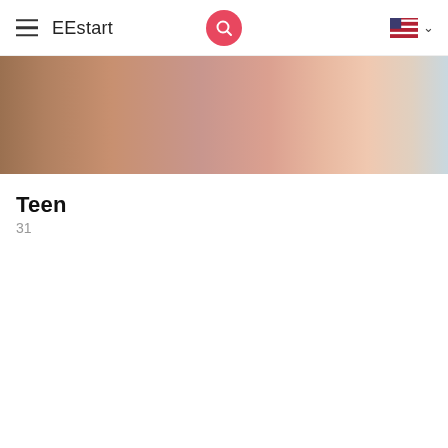EEstart
[Figure (photo): Cropped close-up banner photo showing a person's face and arm, blurred/partial view, warm skin tones]
Teen
31